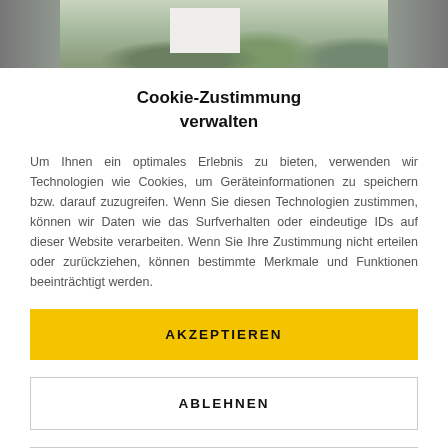[Figure (photo): Partial view of a garden with green plants, purple flowers, and a white building in the background — cropped screenshot of a website header image]
Cookie-Zustimmung verwalten
Um Ihnen ein optimales Erlebnis zu bieten, verwenden wir Technologien wie Cookies, um Geräteinformationen zu speichern bzw. darauf zuzugreifen. Wenn Sie diesen Technologien zustimmen, können wir Daten wie das Surfverhalten oder eindeutige IDs auf dieser Website verarbeiten. Wenn Sie Ihre Zustimmung nicht erteilen oder zurückziehen, können bestimmte Merkmale und Funktionen beeinträchtigt werden.
AKZEPTIEREN
ABLEHNEN
VOREINSTELLUNGEN ANZEIGEN
Cookie-Richtlinie